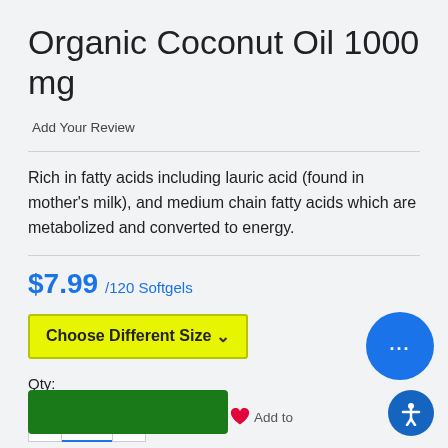Organic Coconut Oil 1000 mg
Add Your Review
Rich in fatty acids including lauric acid (found in mother's milk), and medium chain fatty acids which are metabolized and converted to energy.
$7.99 /120 Softgels
Choose Different Size
Qty:
1